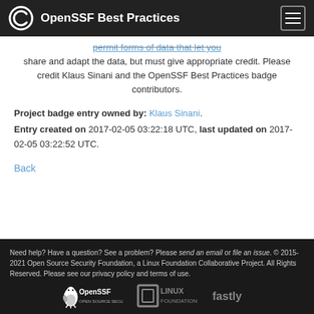OpenSSF Best Practices
...permits forms of data that let you share and adapt the data, but must give appropriate credit. Please credit Klaus Sinani and the OpenSSF Best Practices badge contributors.
Project badge entry owned by: Klaus Sinani. Entry created on 2017-02-05 03:22:18 UTC, last updated on 2017-02-05 03:22:52 UTC.
Back
Need help? Have a question? See a problem? Please send an email or file an issue. © 2015-2021 Open Source Security Foundation, a Linux Foundation Collaborative Project. All Rights Reserved. Please see our privacy policy and terms of use.